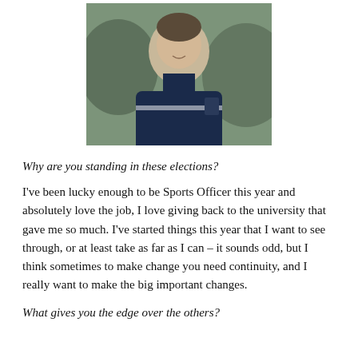[Figure (photo): Photo of a young man smiling, wearing a navy blue sports jacket with a university crest logo, outdoors with blurred green background.]
Why are you standing in these elections?
I've been lucky enough to be Sports Officer this year and absolutely love the job, I love giving back to the university that gave me so much. I've started things this year that I want to see through, or at least take as far as I can – it sounds odd, but I think sometimes to make change you need continuity, and I really want to make the big important changes.
What gives you the edge over the others?